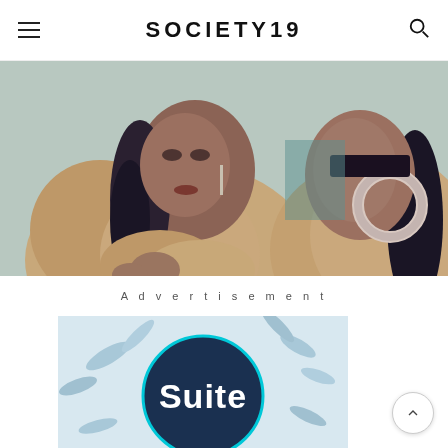SOCIETY19
[Figure (photo): Two women wearing fur coats, one facing forward and one in profile with a large hoop earring visible, photographed close-up]
Advertisement
[Figure (photo): Advertisement image with light blue floral/leaf wallpaper background and a dark circular badge with the word 'Suite' in bold white text]